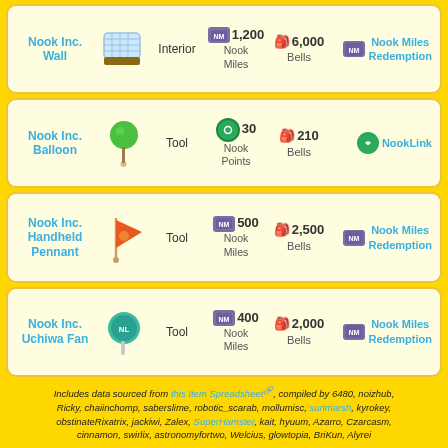| Item | Image | Category | Nook Miles Cost | Bells | Source |
| --- | --- | --- | --- | --- | --- |
| Nook Inc. Wall | [image] | Interior | 1,200 Nook Miles | 🎒 6,000 Bells | Nook Miles Redemption |
| Nook Inc. Balloon | [image] | Tool | 30 Nook Points | 🎒 210 Bells | NookLink |
| Nook Inc. Handheld Pennant | [image] | Tool | 500 Nook Miles | 🎒 2,500 Bells | Nook Miles Redemption |
| Nook Inc. Uchiwa Fan | [image] | Tool | 400 Nook Miles | 🎒 2,000 Bells | Nook Miles Redemption |
Includes data sourced from this Item Spreadsheet, compiled by 6480, noizhub, Ricky, chaiinchomp, saberslime, robotic_scarab, mollumisc, sunmarsh, kyrokey, obstinateRixatrix, jackiwi, Zalex, SuperHamster, kait, hyuum, Azarro, Czarcasm, cinnamon, swirlix, astronomyfortwo, Welcius, glowtopia, BriKun, Alyrei